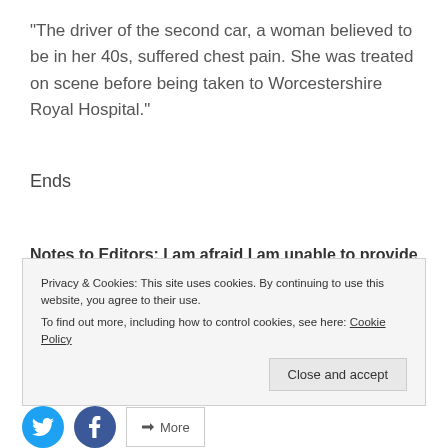“The driver of the second car, a woman believed to be in her 40s, suffered chest pain. She was treated on scene before being taken to Worcestershire Royal Hospital.”
Ends
Notes to Editors: I am afraid I am unable to provide a
Privacy & Cookies: This site uses cookies. By continuing to use this website, you agree to their use.
To find out more, including how to control cookies, see here: Cookie Policy
Close and accept